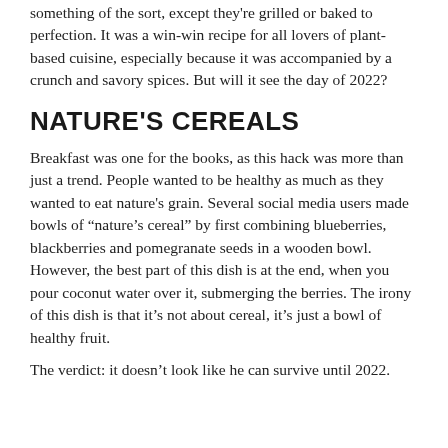something of the sort, except they're grilled or baked to perfection. It was a win-win recipe for all lovers of plant-based cuisine, especially because it was accompanied by a crunch and savory spices. But will it see the day of 2022?
NATURE'S CEREALS
Breakfast was one for the books, as this hack was more than just a trend. People wanted to be healthy as much as they wanted to eat nature's grain. Several social media users made bowls of “nature’s cereal” by first combining blueberries, blackberries and pomegranate seeds in a wooden bowl. However, the best part of this dish is at the end, when you pour coconut water over it, submerging the berries. The irony of this dish is that it’s not about cereal, it’s just a bowl of healthy fruit.
The verdict: it doesn’t look like he can survive until 2022.